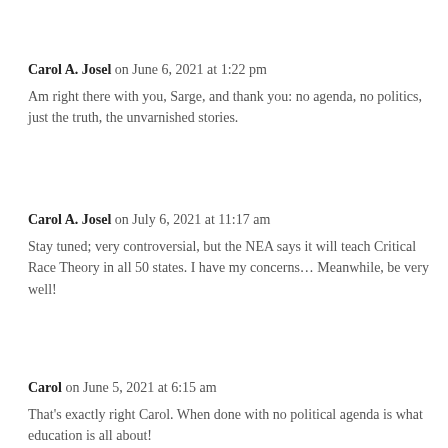Carol A. Josel on June 6, 2021 at 1:22 pm
Am right there with you, Sarge, and thank you: no agenda, no politics, just the truth, the unvarnished stories.
Carol A. Josel on July 6, 2021 at 11:17 am
Stay tuned; very controversial, but the NEA says it will teach Critical Race Theory in all 50 states. I have my concerns… Meanwhile, be very well!
Carol on June 5, 2021 at 6:15 am
That's exactly right Carol. When done with no political agenda is what education is all about!